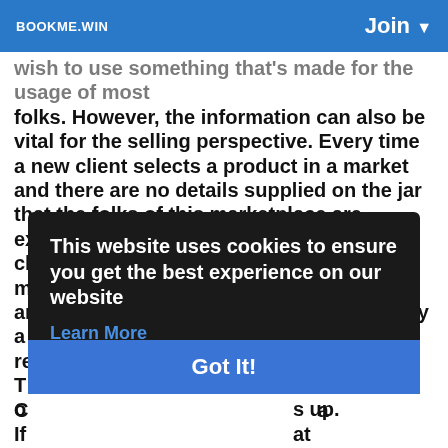BOOKME.WIN   Join ▼
wish to use something that's made for the usage of most folks. However, the information can also be vital for the selling perspective. Every time a new client selects a product in a market and there are no details supplied on the jar that the folks of this marketplace are extremely likely to set the item back. The clients need advice from the goods and manufacturer so as to generate a sensible and sound choice. It isn't impossible to buy a product without studying the crucial info relating to it. T... nd o... s up. If... at h... eral s... t th...
This website uses cookies to ensure you get the best experience on our website
Learn More
Got It!
C...a ...